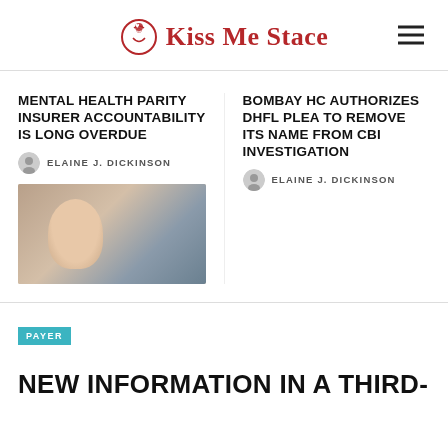Kiss Me Stace
MENTAL HEALTH PARITY INSURER ACCOUNTABILITY IS LONG OVERDUE
ELAINE J. DICKINSON
[Figure (photo): A woman wearing a face mask sitting across from another person, appearing to be in a counseling or therapy session]
BOMBAY HC AUTHORIZES DHFL PLEA TO REMOVE ITS NAME FROM CBI INVESTIGATION
ELAINE J. DICKINSON
PAYER
NEW INFORMATION IN A THIRD-